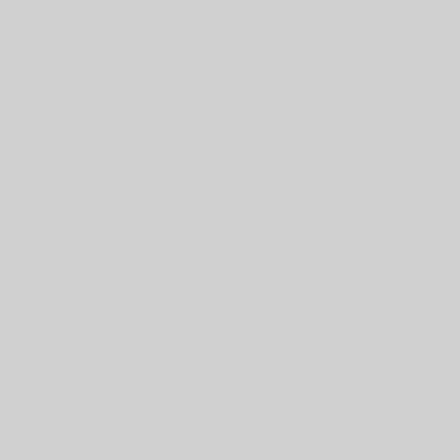[Figure (screenshot): Stick Soccer 3D game thumbnail - 3D soccer game with two players and a ball on green field]
Stick Soccer 3D
[Figure (screenshot): Find the W game thumbnail - orange background with a blue eye/monster character]
Find the W
[Figure (screenshot): Jewelry Mosaic game thumbnail - purple background with golden Jewelry Mosaic text and colorful geometric shapes]
Jewelry Mosaic
[Figure (screenshot): Zombie M game thumbnail - dark prison-like corridor with ZO text visible]
Zombie M
[Figure (screenshot): Kuri in Lull the Ghosts game thumbnail - anime girl character holding a wand with purple background and glowing lights]
Kuri in Lull the Ghosts!!
[Figure (screenshot): Bus Parking game thumbnail - parking sign with P, yellow bus, city road scene]
Bus Pa
[Figure (screenshot): Bottom left game thumbnail - blue/white scene, partially visible]
[Figure (screenshot): Bottom right game thumbnail - orange/brown scene, partially visible]